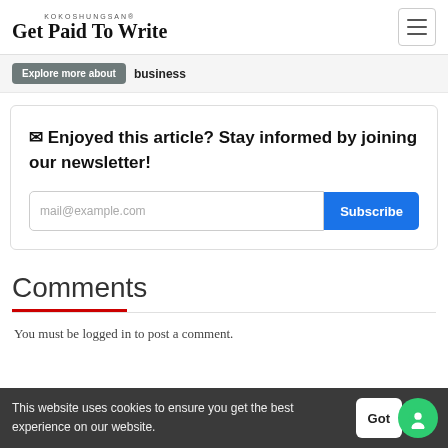KOKOSHUNGSAN® Get Paid To Write
Explore more about  business
✉ Enjoyed this article? Stay informed by joining our newsletter!
mail@example.com  Subscribe
Comments
You must be logged in to post a comment.
This website uses cookies to ensure you get the best experience on our website.  Got